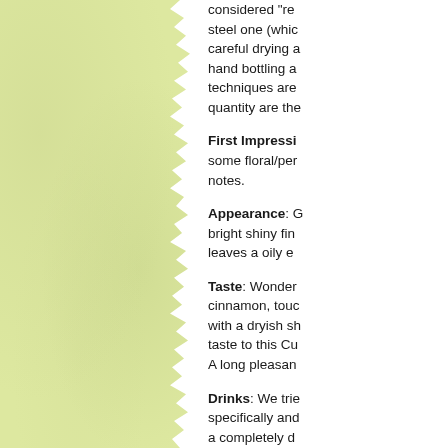[Figure (photo): Left half of page showing a torn/ragged-edge piece of light yellow-green textured paper or parchment against a white background.]
considered from steel one (which careful drying a hand bottling a techniques are quantity are the
First Impressi some floral/per notes.
Appearance: G bright shiny fin leaves a oily e
Taste: Wonder cinnamon, touc with a dryish sh taste to this Cu A long pleasan
Drinks: We trie specifically and a completely d and unique fla transform a dri